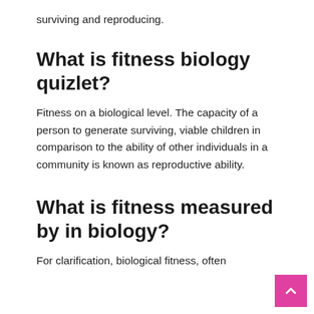surviving and reproducing.
What is fitness biology quizlet?
Fitness on a biological level. The capacity of a person to generate surviving, viable children in comparison to the ability of other individuals in a community is known as reproductive ability.
What is fitness measured by in biology?
For clarification, biological fitness, often known as...